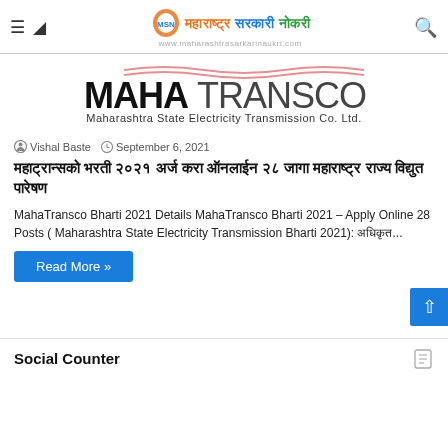महाराष्ट्र सरकारी नोकरी
[Figure (logo): MAHATRANSCO - Maharashtra State Electricity Transmission Co. Ltd. logo]
Vishal Baste   September 6, 2021
महाट्रान्सको भरती २०२१ अर्ज करा ऑनलाईन २८ जागा महाराष्ट्र राज्य विद्युत पारेषण
MahaTransco Bharti 2021 Details MahaTransco Bharti 2021 – Apply Online 28 Posts ( Maharashtra State Electricity Transmission Bharti 2021): अधिकृत...
Read More »
Social Counter